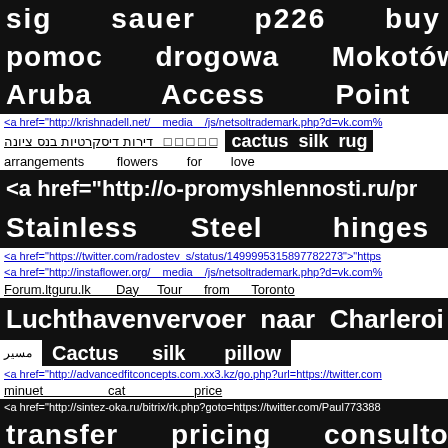sig   sauer   p226   buy
pomoc   drogowa   Mokotów
Aruba   Access   Point
<a href="http://krishnadell.net/__media__/js/netsoltrademark.php?d=vk.com%
□ □ □ □ □   דירות דיסקרטיות בנס ציונה   cactus silk rug
arrangements   flowers   for   love
<a href="http://o-promyshlennosti.ru/pr
Stainless   Steel   hinges
<a href="https://twitter.com/radostev_s/status/1499995315897782273">"https
<a href="http://instaflower.org/__media__/js/netsoltrademark.php?d=vk.com%
Forum.ltguru.lk   Day   Tour   from   Toronto
Luchthavenvervoer naar Charleroi
مسير   Cactus silk pillow
<a href="http://advancedfitconcepts.com.xx3.kz/go.php?url=https://twitter.com
minuet   cat   price
<a href="http://sintez-oka.ru/bitrix/rk.php?goto=https://twitter.com/Paul773388
transfer   pricing   consultoria
<a href="https://advokat-msk.blogspot.
topps chrome cards   romantic flowers for your crush
Tronair   Tripod   Jacks
Felon   Friendly   Jobs